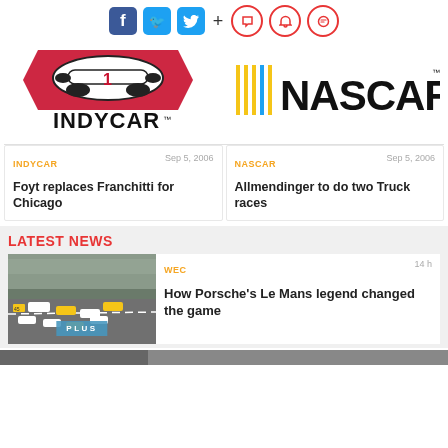[Figure (screenshot): Social media icons: Facebook (blue), Twitter (cyan), plus sign, and three red circular icons (bookmark, bell, chat)]
[Figure (logo): INDYCAR logo — racing car graphic in red/black with INDYCAR wordmark below]
[Figure (logo): NASCAR logo — colored speed stripes (yellow, blue) with NASCAR wordmark in bold black]
INDYCAR    Sep 5, 2006
Foyt replaces Franchitti for Chicago
NASCAR    Sep 5, 2006
Allmendinger to do two Truck races
LATEST NEWS
[Figure (photo): Race cars on track with crowd in background; PLUS badge overlay]
WEC    14 h
How Porsche's Le Mans legend changed the game